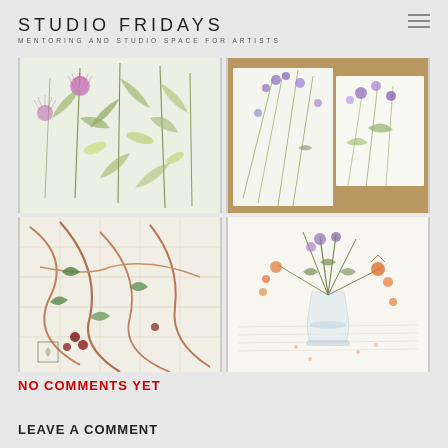STUDIO FRIDAYS — MENTORING AND STUDIO SPACE FOR ARTISTS
[Figure (photo): Four botanical watercolor artworks arranged in a 2x2 grid. Top-left: thistles and leafy plants. Top-right: purple wildflowers and grass on sketchbook pages. Bottom-left: bramble branches and berries over map. Bottom-right: mixed wildflowers including orange and purple in a glass vase.]
NO COMMENTS YET
LEAVE A COMMENT